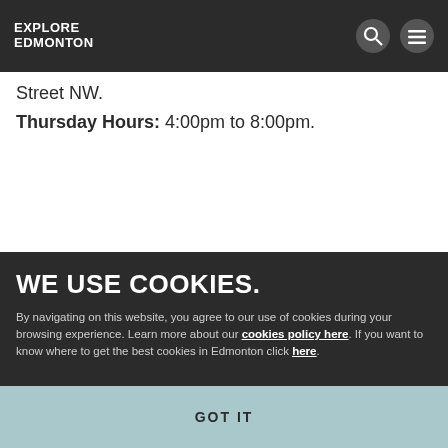EXPLORE EDMONTON
Street NW.
Thursday Hours: 4:00pm to 8:00pm.
WE USE COOKIES.
By navigating on this website, you agree to our use of cookies during your browsing experience. Learn more about our cookies policy here. If you want to know where to get the best cookies in Edmonton click here.
GOT IT